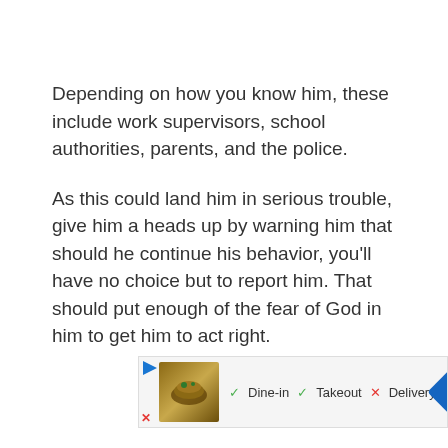Depending on how you know him, these include work supervisors, school authorities, parents, and the police.
As this could land him in serious trouble, give him a heads up by warning him that should he continue his behavior, you'll have no choice but to report him. That should put enough of the fear of God in him to get him to act right.
15. Report to relevant authorities
You've tried everything you possibly could to get this
[Figure (screenshot): Advertisement banner showing a food image with Dine-in, Takeout, and Delivery options and a navigation arrow icon]